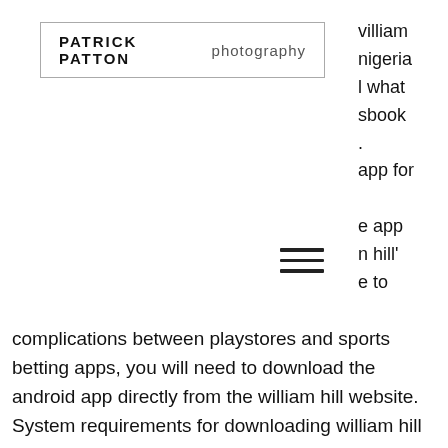[Figure (logo): Patrick Patton Photography logo with border box]
william
nigeria
l what
sbook
.
app for

e app
n hill'
e to
[Figure (other): Hamburger menu icon (three horizontal lines)]
complications between playstores and sports betting apps, you will need to download the android app directly from the william hill website. System requirements for downloading william hill app: android and ios. Previously, the android app was not available for download on google play. This william hill mobile site review helps with your questions related to gambling via this uk bookie. Our findings are thoroughly tested. Открыть сайт букмекера. Найти на